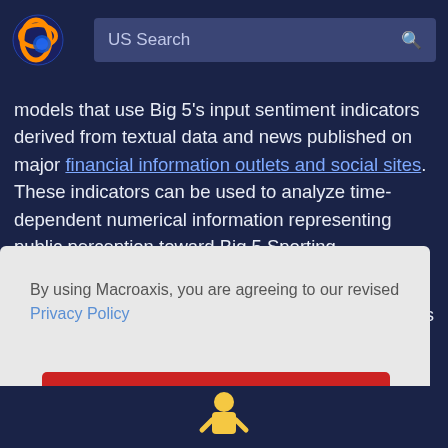US Search
models that use Big 5's input sentiment indicators derived from textual data and news published on major financial information outlets and social sites. These indicators can be used to analyze time-dependent numerical information representing public perception toward Big 5 Sporting.
By using Macroaxis, you are agreeing to our revised Privacy Policy
OK